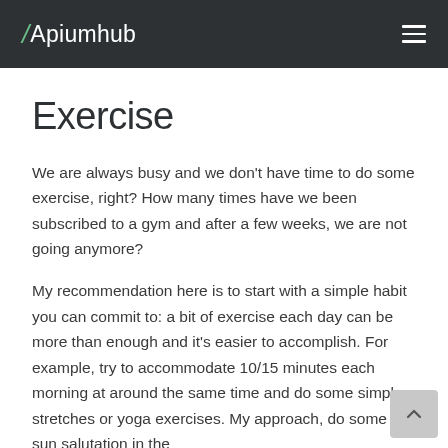Apiumhub
Exercise
We are always busy and we don't have time to do some exercise, right? How many times have we been subscribed to a gym and after a few weeks, we are not going anymore?
My recommendation here is to start with a simple habit you can commit to: a bit of exercise each day can be more than enough and it's easier to accomplish. For example, try to accommodate 10/15 minutes each morning at around the same time and do some simple stretches or yoga exercises. My approach, do some sun salutation in the